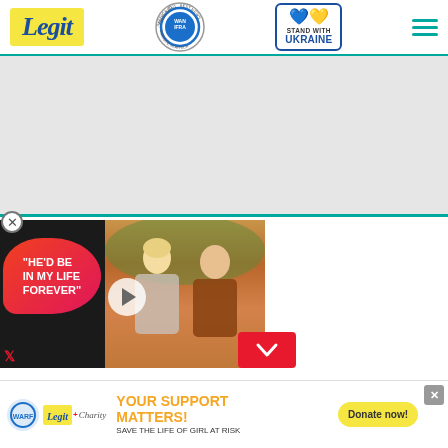Legit - AFRICA 2021 BEST NEWS WEBSITE IN AFRICA WAN IFRA - STAND WITH UKRAINE
[Figure (screenshot): Gray advertisement placeholder area]
age, height, net worth,
[Figure (screenshot): Video overlay showing couple with speech bubble 'HE'D BE IN MY LIFE FOREVER' and play button]
[Figure (infographic): Charity banner: YOUR SUPPORT MATTERS! SAVE THE LIFE OF GIRL AT RISK - Donate now!]